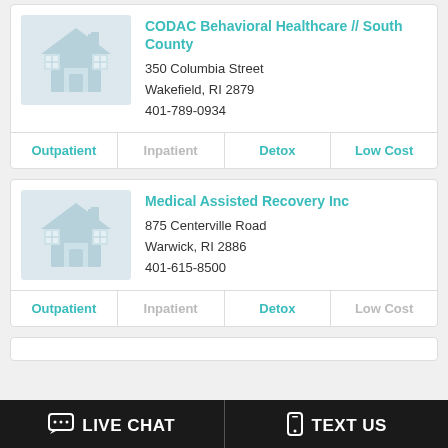CODAC Behavioral Healthcare // South County
350 Columbia Street
Wakefield, RI 2879
401-789-0934
Outpatient | Inpatient | Detox | Low Cost
Medical Assisted Recovery Inc
875 Centerville Road
Warwick, RI 2886
401-615-8500
Outpatient | Inpatient | Detox | Low Cost
LIVE CHAT | TEXT US